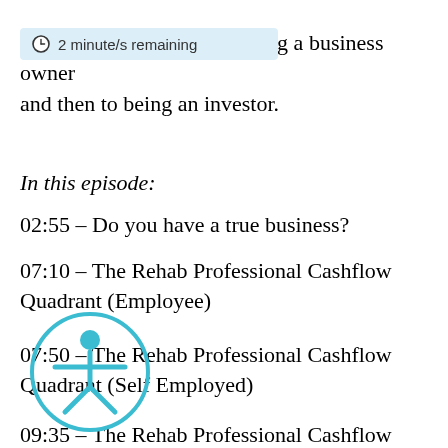2 minute/s remaining
ing a business owner and then to being an investor.
In this episode:
02:55 – Do you have a true business?
07:10 – The Rehab Professional Cashflow Quadrant (Employee)
07:50 – The Rehab Professional Cashflow Quadrant (Self Employed)
09:35 – The Rehab Professional Cashflow Quadrant (Business Owner)
10:45 – The Rehab Professional Cashflow Quadrant (Investor)